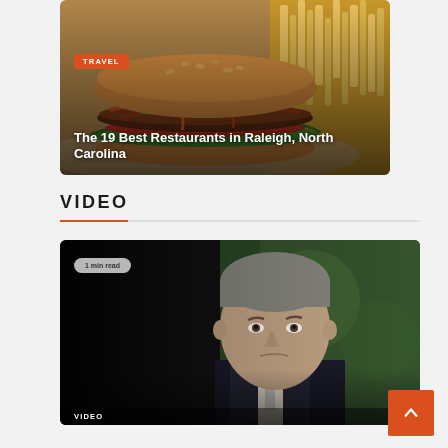[Figure (photo): Close-up photo of a burger with bacon, green jalapeños, lettuce on a bun, with french fries in the background. Orange 'TRAVEL' badge overlay. Title text: 'The 19 Best Restaurants in Raleigh, North Carolina']
TRAVEL
The 19 Best Restaurants in Raleigh, North Carolina
VIDEO
[Figure (photo): Photo of a man in a suit with gray hair, looking serious, with blurred green background. Badge '1 min read'. VIDEO tag overlay at bottom.]